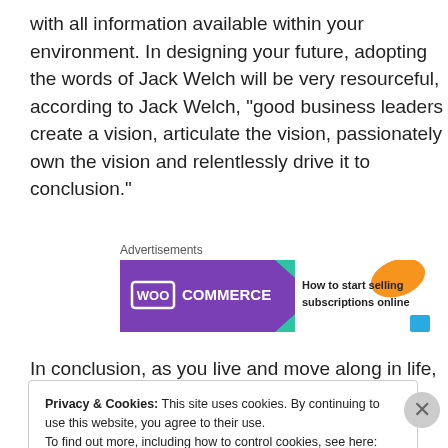with all information available within your environment. In designing your future, adopting the words of Jack Welch will be very resourceful, according to Jack Welch, “good business leaders create a vision, articulate the vision, passionately own the vision and relentlessly drive it to conclusion.”
[Figure (infographic): WooCommerce advertisement banner: purple background with WooCommerce logo on the left and text 'How to start selling subscriptions online' on the right with orange and teal decorative shapes.]
Advertisements
In conclusion, as you live and move along in life, always have at the back of your mind, your personality, dreams
Privacy & Cookies: This site uses cookies. By continuing to use this website, you agree to their use. To find out more, including how to control cookies, see here: Cookie Policy
Close and accept